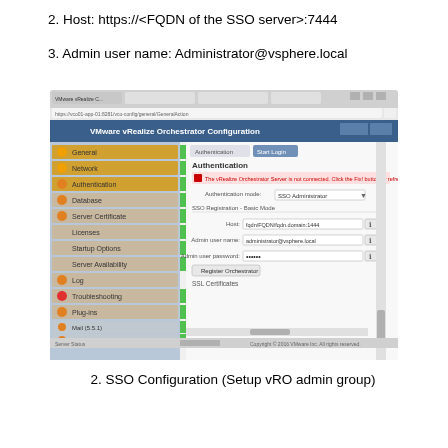2. Host: https://<FQDN of the SSO server>:7444
3. Admin user name: Administrator@vsphere.local
[Figure (screenshot): VMware vRealize Orchestrator Configuration screenshot showing the Authentication tab with SSO Administrator mode, Host field showing fqdn/FQDN/fqdn.domain.1444, Admin user name field showing administrator@vsphere.local, and Admin user password field with masked characters.]
2. SSO Configuration (Setup vRO admin group)